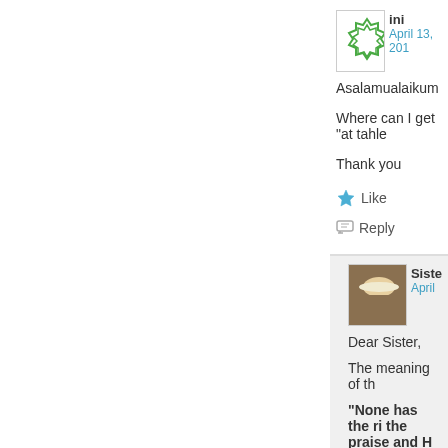[Figure (illustration): User avatar: green geometric star/badge pattern on white background]
April 13, 201
Asalamualaikum
Where can I get "at tahle
Thank you
Like
Reply
[Figure (photo): Photo of a person wearing a white hat, warm tones]
Siste
April
Dear Sister,
The meaning of th
"None has the ri the praise and H
The transliteration "Laa illaaha illallar